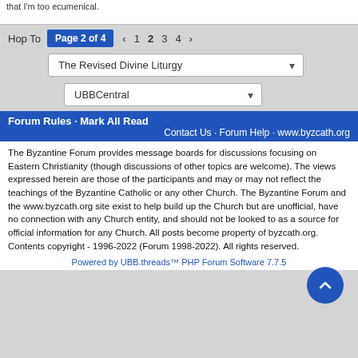that I'm too ecumenical.
Hop To   Page 2 of 4  ‹  1  2  3  4  ›
The Revised Divine Liturgy
UBBCentral
Forum Rules · Mark All Read
Contact Us · Forum Help · www.byzcath.org
The Byzantine Forum provides message boards for discussions focusing on Eastern Christianity (though discussions of other topics are welcome). The views expressed herein are those of the participants and may or may not reflect the teachings of the Byzantine Catholic or any other Church. The Byzantine Forum and the www.byzcath.org site exist to help build up the Church but are unofficial, have no connection with any Church entity, and should not be looked to as a source for official information for any Church. All posts become property of byzcath.org. Contents copyright - 1996-2022 (Forum 1998-2022). All rights reserved.
Powered by UBB.threads™ PHP Forum Software 7.7.5